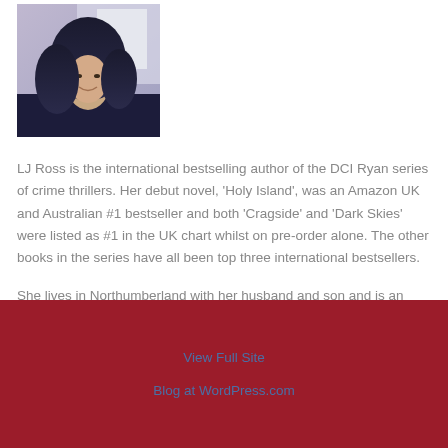[Figure (photo): Headshot photo of a woman with dark hair, smiling, wearing a dark top, against a light background.]
LJ Ross is the international bestselling author of the DCI Ryan series of crime thrillers. Her debut novel, 'Holy Island', was an Amazon UK and Australian #1 bestseller and both 'Cragside' and 'Dark Skies' were listed as #1 in the UK chart whilst on pre-order alone. The other books in the series have all been top three international bestsellers.
She lives in Northumberland with her husband and son and is an active proponent of the bacon stottie.
View Full Site
Blog at WordPress.com